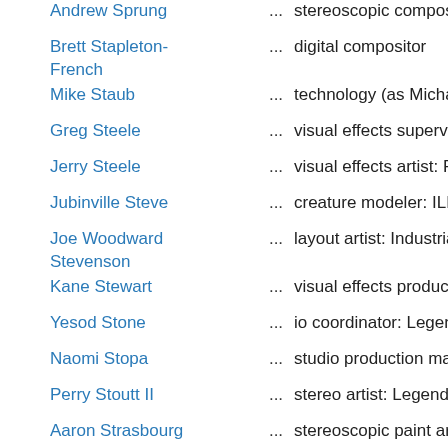Andrew Sprung ... stereoscopic compositor
Brett Stapleton-French ... digital compositor
Mike Staub ... technology (as Michael Staub)
Greg Steele ... visual effects supervisor: Meth
Jerry Steele ... visual effects artist: Paramoun
Jubinville Steve ... creature modeler: ILM
Joe Woodward Stevenson ... layout artist: Industrial Light &
Kane Stewart ... visual effects production coord
Yesod Stone ... io coordinator: Legend 3D
Naomi Stopa ... studio production manager: M
Perry Stoutt II ... stereo artist: Legend 3D
Aaron Strasbourg ... stereoscopic paint artist: Prime
Bradey Strong ... lighting artist
Jason Suhrke ... visual effects model productio
Dapeng Sun ... environment lead
Jianwei Sun ... digital roto paint artist
Xiaodan Sun ... compositor
Xiaoxuan Sun ... layout lead
Yicun Sun ... rigging artist